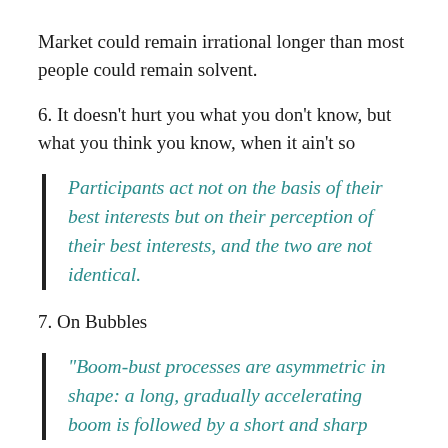Market could remain irrational longer than most people could remain solvent.
6. It doesn't hurt you what you don't know, but what you think you know, when it ain't so
Participants act not on the basis of their best interests but on their perception of their best interests, and the two are not identical.
7. On Bubbles
“Boom-bust processes are asymmetric in shape: a long, gradually accelerating boom is followed by a short and sharp